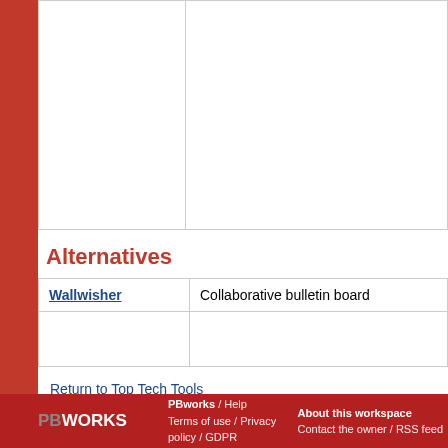|  |  |
|  |  |
Alternatives
| Wallwisher | Collaborative bulletin board |
|  |  |
Return to Top Tech Tools
Comments (0)
You don't have permission to comment on this page.
PBWORKS / Help Terms of use / Privacy policy / GDPR About this workspace Contact the owner / RSS feed